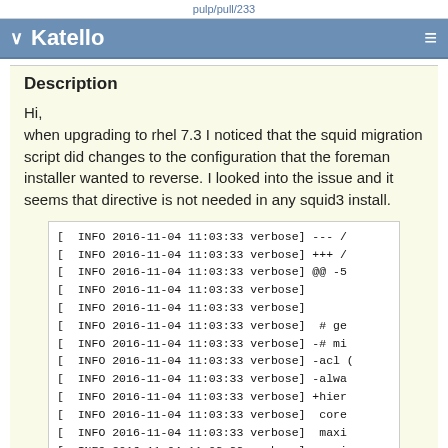pulp/pull/233
Katello
Description
Hi,
when upgrading to rhel 7.3 I noticed that the squid migration script did changes to the configuration that the foreman installer wanted to reverse. I looked into the issue and it seems that directive is not needed in any squid3 install.
[ INFO 2016-11-04 11:03:33 verbose] --- /
[ INFO 2016-11-04 11:03:33 verbose] +++ /
[ INFO 2016-11-04 11:03:33 verbose] @@ -5
[ INFO 2016-11-04 11:03:33 verbose]
[ INFO 2016-11-04 11:03:33 verbose]
[ INFO 2016-11-04 11:03:33 verbose]  # ge
[ INFO 2016-11-04 11:03:33 verbose] -# mi
[ INFO 2016-11-04 11:03:33 verbose] -acl (
[ INFO 2016-11-04 11:03:33 verbose] -alwa
[ INFO 2016-11-04 11:03:33 verbose] +hier
[ INFO 2016-11-04 11:03:33 verbose]  core
[ INFO 2016-11-04 11:03:33 verbose]  maxi
[ INFO 2016-11-04 11:03:33 verbose]  maxi